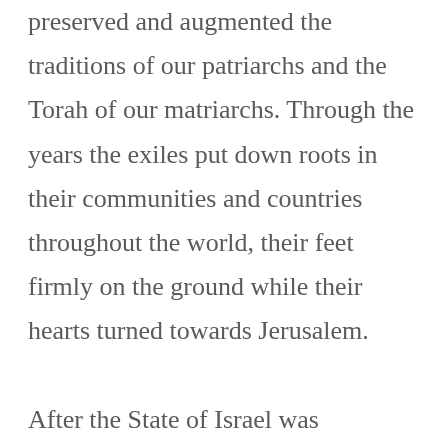preserved and augmented the traditions of our patriarchs and the Torah of our matriarchs. Through the years the exiles put down roots in their communities and countries throughout the world, their feet firmly on the ground while their hearts turned towards Jerusalem.

After the State of Israel was established, the exile became the Diaspora – independent Jewish centers, now located mostly in the United States and Europe. Diaspora Jews serve as emissaries of Israel and the Jewish nation to the governments and nations amongst whom they live. The State of Israel can and should